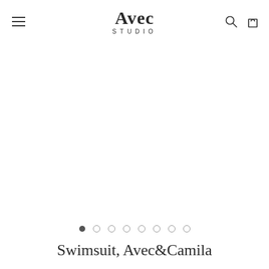Avec Studio — navigation header with hamburger menu, logo, search and cart icons
[Figure (photo): Blank white product image area for swimsuit product]
• ○ ○ ○ ○ ○ ○ ○ — image carousel pagination dots, first dot active
Swimsuit, Avec&Camila